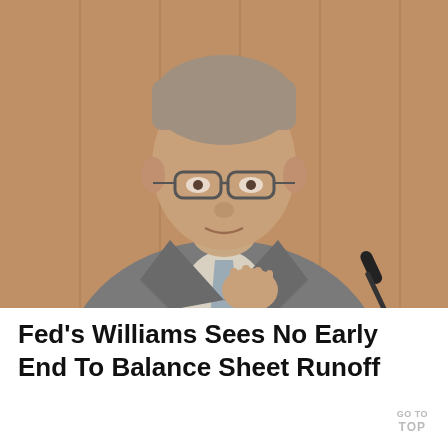[Figure (photo): A middle-aged man in a gray suit and tie, wearing glasses, speaking at what appears to be a formal hearing or conference. A microphone is visible in the lower right corner. The background features wooden paneling in warm brown tones.]
Fed's Williams Sees No Early End To Balance Sheet Runoff